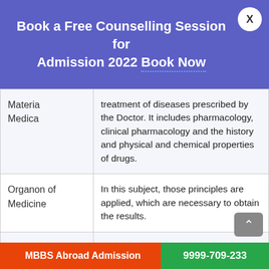Book a Free Counselling Session for Admission 2022 Book Now
| Subject | Description |
| --- | --- |
| Materia Medica | treatment of diseases prescribed by the Doctor. It includes pharmacology, clinical pharmacology and the history and physical and chemical properties of drugs. |
| Organon of Medicine | In this subject, those principles are applied, which are necessary to obtain the results. |
|  | This subject gives |
MBBS Abroad Admission   9999-709-233